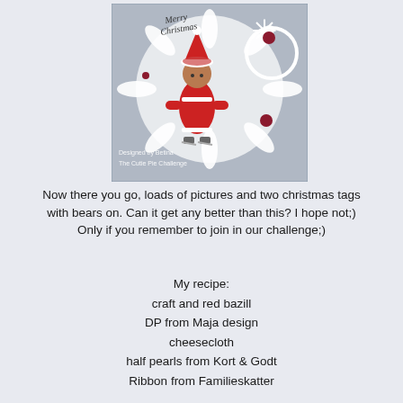[Figure (photo): A Christmas-themed craft card featuring a small bear dressed in a red Santa outfit with white trim, ice skating. The card has white snowflake decorations, lace doily elements, and dark red/burgundy pearl embellishments. Text on the image reads 'Merry Christmas', 'Designed by Betina', and 'The Cutie Pie Challenge'.]
Now there you go, loads of pictures and two christmas tags with bears on. Can it get any better than this? I hope not;) Only if you remember to join in our challenge;)
My recipe:
craft and red bazill
DP from Maja design
cheesecloth
half pearls from Kort & Godt
Ribbon from Familieskatter